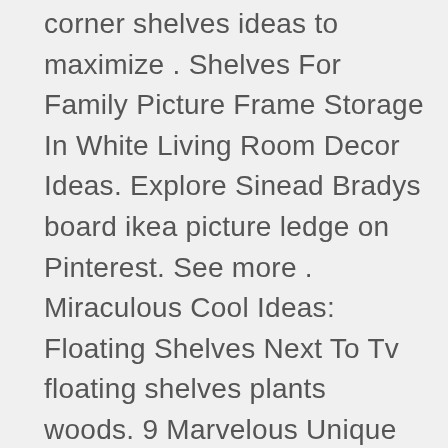corner shelves ideas to maximize . Shelves For Family Picture Frame Storage In White Living Room Decor Ideas. Explore Sinead Bradys board ikea picture ledge on Pinterest. See more . Miraculous Cool Ideas: Floating Shelves Next To Tv floating shelves plants woods. 9 Marvelous Unique Ideas: Floating Shelf Bedroom Plants floating shelf with pictures wall colors.Floating Shelf Desk Woods floating shelves with drawers bookshelves.Floating Shelf Over Couch Awesome Bookshelves also can be used as a separation between two rooms. When you will walk in the room you will feel the grandiosity of the bookshelf wall. Make your. bookshelves flat pack The marvelous picture above, is segment of Best Modern Modular . . Discover ideas about Wall Bookshelves. bookshelves flat pack. Super Genius Cool Ideas: Floating Shelves Living Room